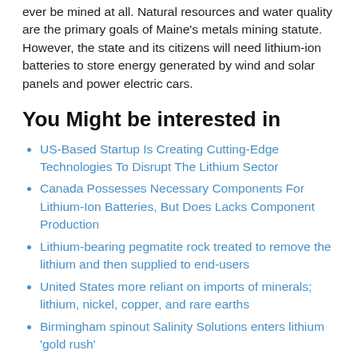ever be mined at all. Natural resources and water quality are the primary goals of Maine's metals mining statute. However, the state and its citizens will need lithium-ion batteries to store energy generated by wind and solar panels and power electric cars.
You Might be interested in
US-Based Startup Is Creating Cutting-Edge Technologies To Disrupt The Lithium Sector
Canada Possesses Necessary Components For Lithium-Ion Batteries, But Does Lacks Component Production
Lithium-bearing pegmatite rock treated to remove the lithium and then supplied to end-users
United States more reliant on imports of minerals; lithium, nickel, copper, and rare earths
Birmingham spinout Salinity Solutions enters lithium 'gold rush'